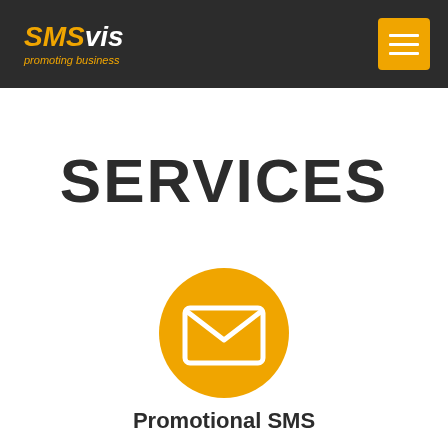SMSvis - promoting business
SERVICES
[Figure (illustration): Orange circle with a white envelope/mail icon in the center]
Promotional SMS
A promotional message can come in many forms, such as a television, or magazine advertisement, or a slogan, on a